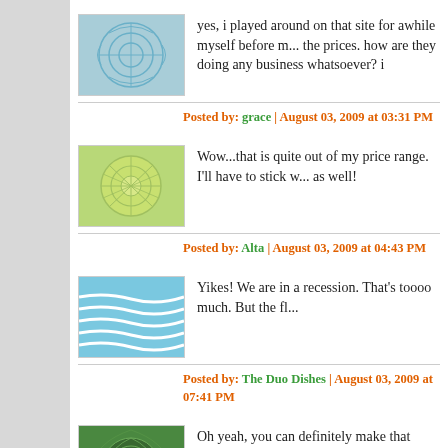yes, i played around on that site for awhile myself before m... the prices. how are they doing any business whatsoever? i
Posted by: grace | August 03, 2009 at 03:31 PM
Wow...that is quite out of my price range. I'll have to stick w... as well!
Posted by: Alta | August 03, 2009 at 04:43 PM
Yikes! We are in a recession. That's toooo much. But the fl...
Posted by: The Duo Dishes | August 03, 2009 at 07:41 PM
Oh yeah, you can definitely make that flavor yourself. That'...
Posted by: Wendy | August 03, 2009 at 07:46 PM
WHAT! THat is just absurd.
Posted by: Lori | August 03, 2009 at 09:26 PM